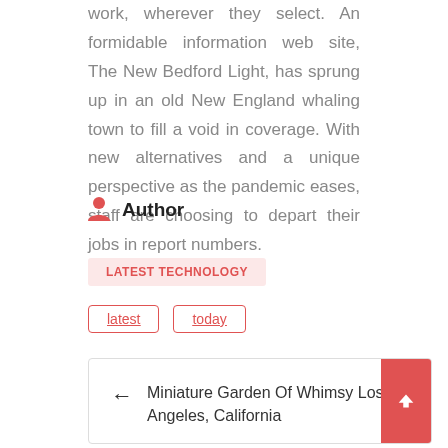work, wherever they select. An formidable information web site, The New Bedford Light, has sprung up in an old New England whaling town to fill a void in coverage. With new alternatives and a unique perspective as the pandemic eases, staff are choosing to depart their jobs in report numbers.
Author
LATEST TECHNOLOGY
latest
today
Miniature Garden Of Whimsy Los Angeles, California